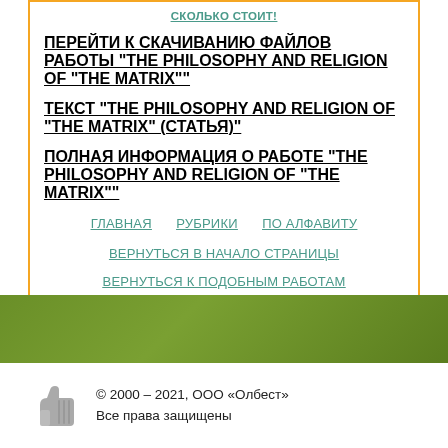СКОЛЬКО СТОИТ!
ПЕРЕЙТИ К СКАЧИВАНИЮ ФАЙЛОВ РАБОТЫ "THE PHILOSOPHY AND RELIGION OF "THE MATRIX""
ТЕКСТ "THE PHILOSOPHY AND RELIGION OF "THE MATRIX" (СТАТЬЯ)"
ПОЛНАЯ ИНФОРМАЦИЯ О РАБОТЕ "THE PHILOSOPHY AND RELIGION OF "THE MATRIX""
ГЛАВНАЯ   РУБРИКИ   ПО АЛФАВИТУ
ВЕРНУТЬСЯ В НАЧАЛО СТРАНИЦЫ
ВЕРНУТЬСЯ К ПОДОБНЫМ РАБОТАМ
© 2000 – 2021, ООО «Олбест»
Все права защищены